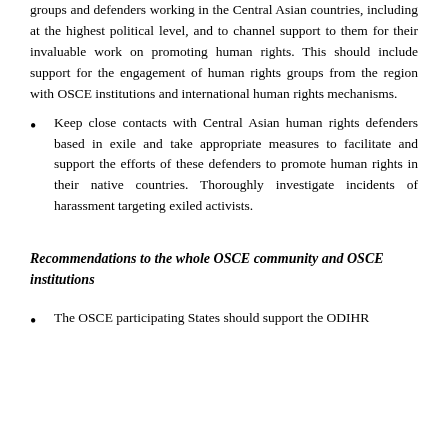groups and defenders working in the Central Asian countries, including at the highest political level, and to channel support to them for their invaluable work on promoting human rights. This should include support for the engagement of human rights groups from the region with OSCE institutions and international human rights mechanisms.
Keep close contacts with Central Asian human rights defenders based in exile and take appropriate measures to facilitate and support the efforts of these defenders to promote human rights in their native countries. Thoroughly investigate incidents of harassment targeting exiled activists.
Recommendations to the whole OSCE community and OSCE institutions
The OSCE participating States should support the ODIHR